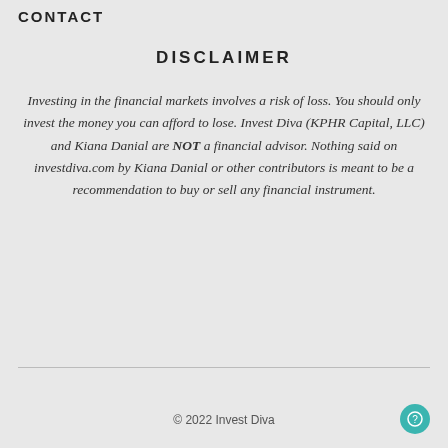CONTACT
DISCLAIMER
Investing in the financial markets involves a risk of loss. You should only invest the money you can afford to lose. Invest Diva (KPHR Capital, LLC) and Kiana Danial are NOT a financial advisor. Nothing said on investdiva.com by Kiana Danial or other contributors is meant to be a recommendation to buy or sell any financial instrument.
© 2022 Invest Diva